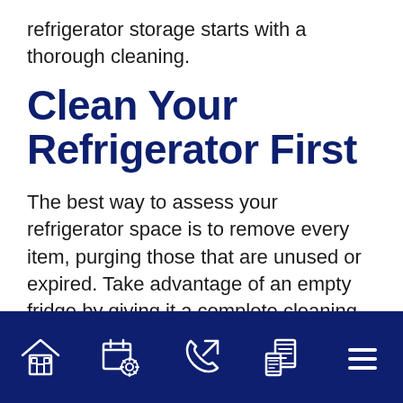refrigerator storage starts with a thorough cleaning.
Clean Your Refrigerator First
The best way to assess your refrigerator space is to remove every item, purging those that are unused or expired. Take advantage of an empty fridge by giving it a complete cleaning before you start organizing.
Here's how to clean your
[Figure (other): Dark navy bottom navigation bar with five white icon buttons: house/home icon, calendar with gear icon, phone with arrow icon, chat/mobile device icon, and hamburger menu icon.]